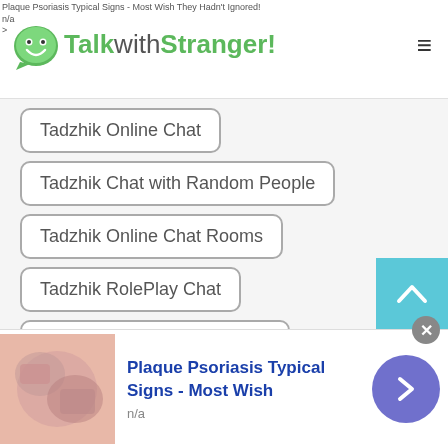Plaque Psoriasis Typical Signs - Most Wish They Hadn't Ignored!
n/a
>
[Figure (logo): TalkwithStranger! logo with smiley face icon]
Tadzhik Online Chat
Tadzhik Chat with Random People
Tadzhik Online Chat Rooms
Tadzhik RolePlay Chat
Tadzhik Random Chat Room
Tadzhik Chat for Free
Tadzhik Online Free Call
Tadzhik Omegle Teen
Tadzhik Call
[Figure (photo): Plaque Psoriasis skin image advertisement thumbnail]
Plaque Psoriasis Typical Signs - Most Wish
n/a